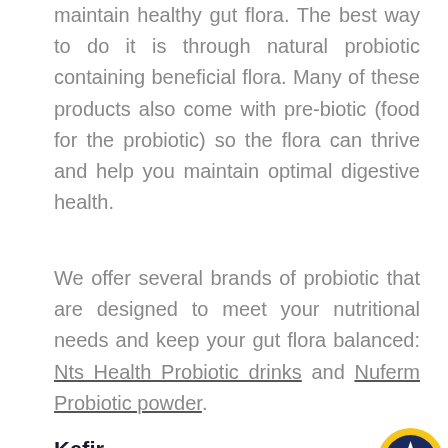maintain healthy gut flora. The best way to do it is through natural probiotic containing beneficial flora. Many of these products also come with pre-biotic (food for the probiotic) so the flora can thrive and help you maintain optimal digestive health.
We offer several brands of probiotic that are designed to meet your nutritional needs and keep your gut flora balanced: Nts Health Probiotic drinks and Nuferm Probiotic powder.
Kefir
Another good way to maintain healthy gut flora is to drink kefir, a natural probiotic. This is a fermented milk drink originating in the Caucasian Mountains near Turkey, where it's been used as a natural remedy for centuries. Kefir is a powerful source of beneficial gut flora and yeasts that will help you maintain healthy digestive system. We stock Nature's Goodness Kefir sachets for making a healthy kefir drink